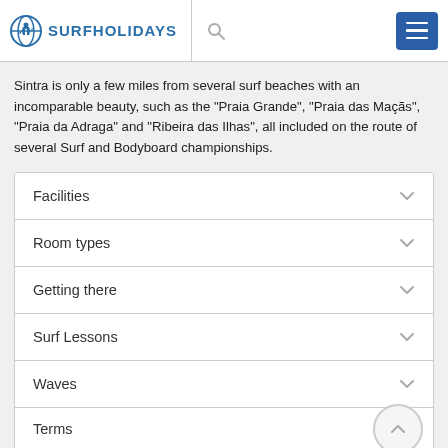SURFHOLIDAYS
Sintra is only a few miles from several surf beaches with an incomparable beauty, such as the "Praia Grande", "Praia das Maçãs", "Praia da Adraga" and "Ribeira das Ilhas", all included on the route of several Surf and Bodyboard championships.
Facilities
Room types
Getting there
Surf Lessons
Waves
Terms
Similar Surf Packages in Sintra, Portugal